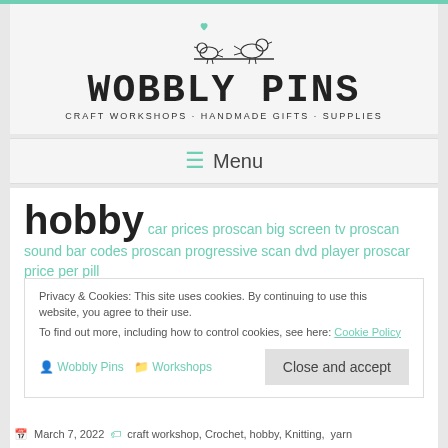[Figure (logo): Wobbly Pins logo with two birds on a branch and text 'WOBBLY PINS - CRAFT WORKSHOPS - HANDMADE GIFTS - SUPPLIES']
≡ Menu
hobby
car prices proscan big screen tv proscan sound bar codes proscan progressive scan dvd player proscar price per pill
Beginners Crochet or Beginners Knitting?
Privacy & Cookies: This site uses cookies. By continuing to use this website, you agree to their use. To find out more, including how to control cookies, see here: Cookie Policy
Wobbly Pins    Workshops    Close and accept
March 7, 2022    craft workshop, Crochet, hobby, Knitting, yarn